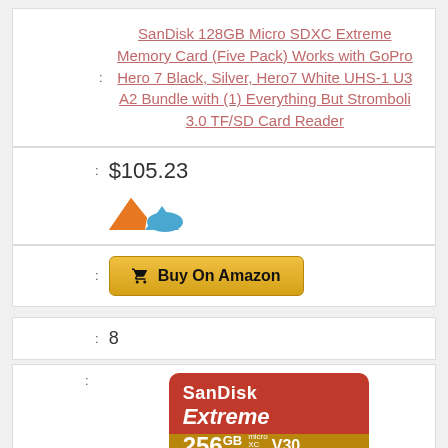SanDisk 128GB Micro SDXC Extreme Memory Card (Five Pack) Works with GoPro Hero 7 Black, Silver, Hero7 White UHS-1 U3 A2 Bundle with (1) Everything But Stromboli 3.0 TF/SD Card Reader
$105.23
[Figure (logo): Orange and blue mountain/wave logo]
Buy On Amazon
8
[Figure (photo): SanDisk Extreme 256GB microSD V30 U3 A2 card]